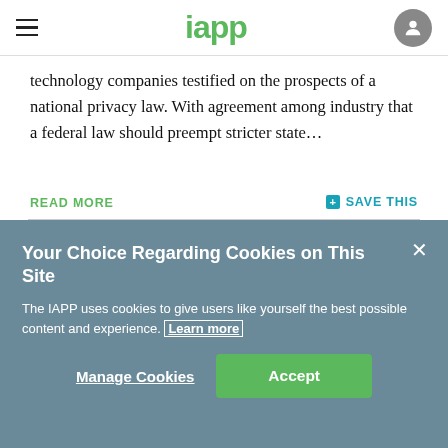iapp
technology companies testified on the prospects of a national privacy law. With agreement among industry that a federal law should preempt stricter state...
READ MORE
SAVE THIS
Your Choice Regarding Cookies on This Site
The IAPP uses cookies to give users like yourself the best possible content and experience. Learn more
Manage Cookies
Accept